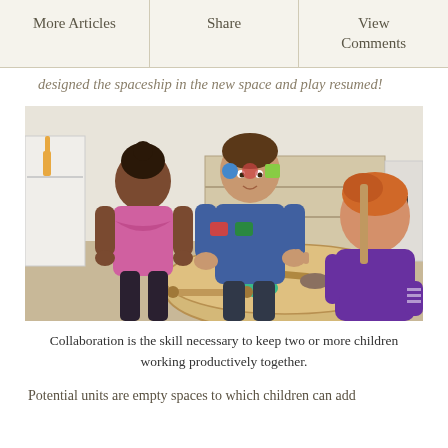More Articles | Share | View Comments
designed the spaceship in the new space and play resumed!
[Figure (photo): Three young children playing together at a round table in a classroom. A girl in a pink shirt on the left, a boy in a blue shirt in the middle, and a red-haired toddler in a purple shirt on the right. They are working with clay and wooden tools on the table. Classroom shelves with toys visible in background.]
Collaboration is the skill necessary to keep two or more children working productively together.
Potential units are empty spaces to which children can add